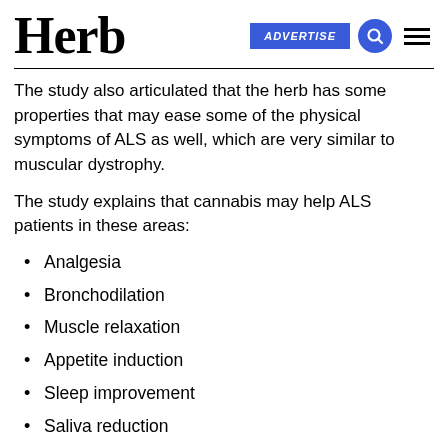Herb | ADVERTISE
The study also articulated that the herb has some properties that may ease some of the physical symptoms of ALS as well, which are very similar to muscular dystrophy.
The study explains that cannabis may help ALS patients in these areas:
Analgesia
Bronchodilation
Muscle relaxation
Appetite induction
Sleep improvement
Saliva reduction